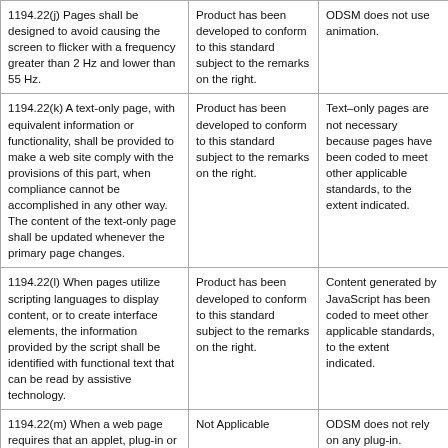| Criteria | Supporting Features | Remarks and Explanations |
| --- | --- | --- |
| 1194.22(j) Pages shall be designed to avoid causing the screen to flicker with a frequency greater than 2 Hz and lower than 55 Hz. | Product has been developed to conform to this standard subject to the remarks on the right. | ODSM does not use animation. |
| 1194.22(k) A text-only page, with equivalent information or functionality, shall be provided to make a web site comply with the provisions of this part, when compliance cannot be accomplished in any other way. The content of the text-only page shall be updated whenever the primary page changes. | Product has been developed to conform to this standard subject to the remarks on the right. | Text–only pages are not necessary because pages have been coded to meet other applicable standards, to the extent indicated. |
| 1194.22(l) When pages utilize scripting languages to display content, or to create interface elements, the information provided by the script shall be identified with functional text that can be read by assistive technology. | Product has been developed to conform to this standard subject to the remarks on the right. | Content generated by JavaScript has been coded to meet other applicable standards, to the extent indicated. |
| 1194.22(m) When a web page requires that an applet, plug-in or other application be present on the client system to interpret page content, the | Not Applicable | ODSM does not rely on any plug-in. |